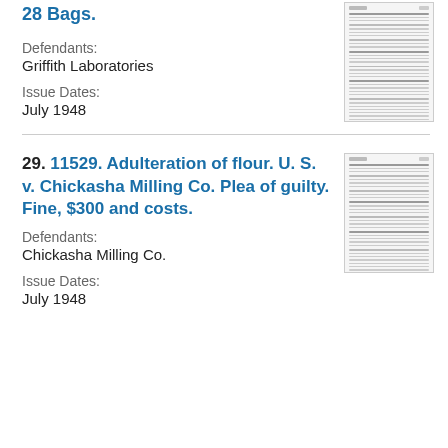28 Bags.
Defendants:
Griffith Laboratories
Issue Dates:
July 1948
[Figure (other): Thumbnail image of a document page with dense text]
29. 11529. Adulteration of flour. U. S. v. Chickasha Milling Co. Plea of guilty. Fine, $300 and costs.
Defendants:
Chickasha Milling Co.
Issue Dates:
July 1948
[Figure (other): Thumbnail image of a document page with dense text]